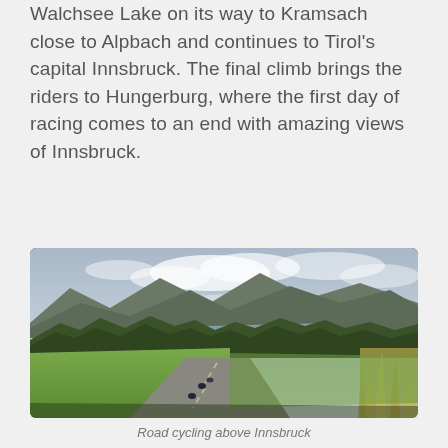Walchsee Lake on its way to Kramsach close to Alpbach and continues to Tirol's capital Innsbruck. The final climb brings the riders to Hungerburg, where the first day of racing comes to an end with amazing views of Innsbruck.
[Figure (photo): Road cycling scene above Innsbruck, showing cyclists on a road through green fields with mountains and a lake visible in the background under a partly cloudy sky.]
Road cycling above Innsbruck